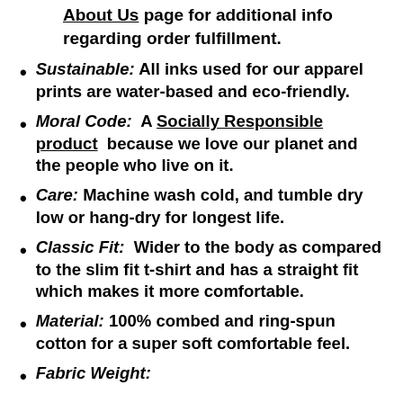About Us page for additional info regarding order fulfillment.
Sustainable: All inks used for our apparel prints are water-based and eco-friendly.
Moral Code: A Socially Responsible product because we love our planet and the people who live on it.
Care: Machine wash cold, and tumble dry low or hang-dry for longest life.
Classic Fit: Wider to the body as compared to the slim fit t-shirt and has a straight fit which makes it more comfortable.
Material: 100% combed and ring-spun cotton for a super soft comfortable feel.
Fabric Weight: (partial, cut off)